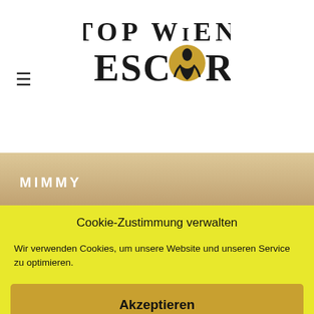[Figure (logo): Top Wien Escort logo with stylized art-deco lettering and female silhouette]
≡
MIMMY
Cookie-Zustimmung verwalten
Wir verwenden Cookies, um unsere Website und unseren Service zu optimieren.
Akzeptieren
verwerfen
Vorlieben